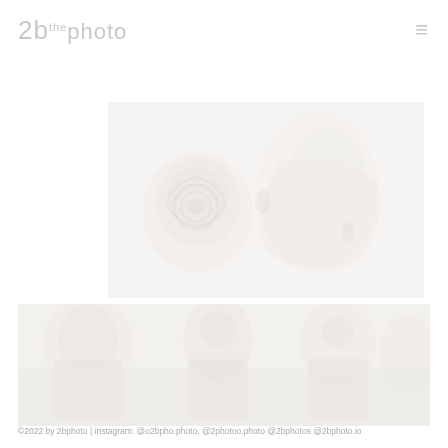2b the photo  ≡
[Figure (photo): Faded/light photograph showing floral or decorative elements, possibly a wedding bouquet or decorative arrangement, very washed out in light tones]
[Figure (photo): Faded/light photograph showing a group of people, possibly at a celebration or event, very washed out in light tones]
©2022 by 2bphoto | instagram: @o2bpho.photo, @2photoo.photo @2bphotos @2bphoto.io